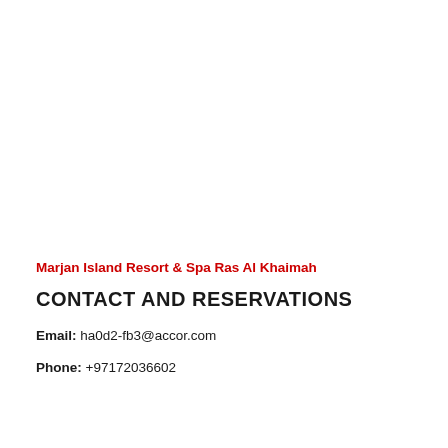Marjan Island Resort & Spa Ras Al Khaimah
CONTACT AND RESERVATIONS
Email: ha0d2-fb3@accor.com
Phone: +97172036602